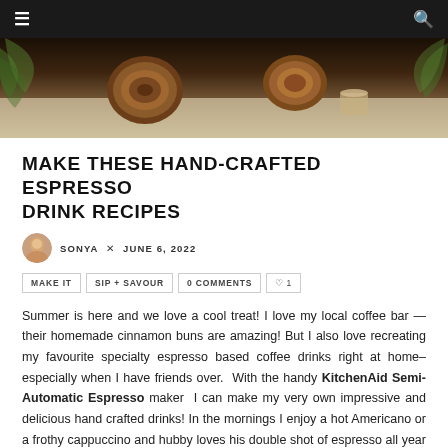≡  🔍
[Figure (photo): Hero image showing coffee-related items including what appears to be cinnamon buns and espresso cups on a palm-leaf patterned background]
MAKE THESE HAND-CRAFTED ESPRESSO DRINK RECIPES
SONYA × JUNE 6, 2022
MAKE IT   SIP + SAVOUR   0 COMMENTS   ♡ 1
Summer is here and we love a cool treat! I love my local coffee bar — their homemade cinnamon buns are amazing! But I also love recreating my favourite specialty espresso based coffee drinks right at home– especially when I have friends over.  With the handy KitchenAid Semi-Automatic Espresso maker  I can make my very own impressive and delicious hand crafted drinks! In the mornings I enjoy a hot Americano or a frothy cappuccino and hubby loves his double shot of espresso all year round. But when it's nice and hot out we can easily make our own frapp or